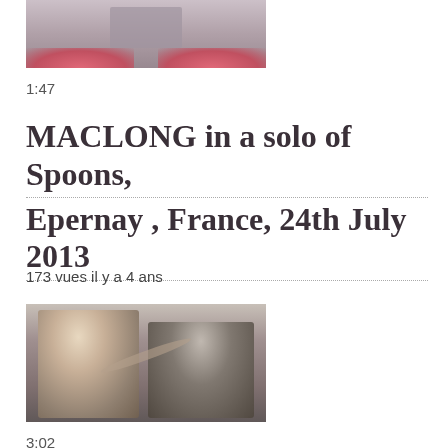[Figure (photo): Outdoor photo showing flower arrangements around a monument or fountain, with pink/red flowers and a person in the background]
1:47
MACLONG in a solo of Spoons, Epernay , France, 24th July 2013
173 vues il y a 4 ans
[Figure (photo): Two people playing spoons or musical instruments together indoors, one in a white shirt and one in a black shirt]
3:02